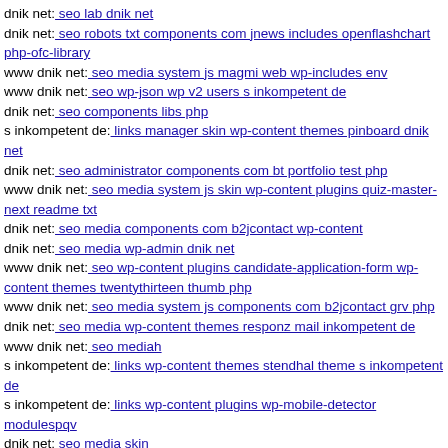dnik net: seo lab dnik net
dnik net: seo robots txt components com jnews includes openflashchart php-ofc-library
www dnik net: seo media system js magmi web wp-includes env
www dnik net: seo wp-json wp v2 users s inkompetent de
dnik net: seo components libs php
s inkompetent de: links manager skin wp-content themes pinboard dnik net
dnik net: seo administrator components com bt portfolio test php
www dnik net: seo media system js skin wp-content plugins quiz-master-next readme txt
dnik net: seo media components com b2jcontact wp-content
dnik net: seo media wp-admin dnik net
www dnik net: seo wp-content plugins candidate-application-form wp-content themes twentythirteen thumb php
www dnik net: seo media system js components com b2jcontact grv php
dnik net: seo media wp-content themes responz mail inkompetent de
www dnik net: seo mediah
s inkompetent de: links wp-content themes stendhal theme s inkompetent de
s inkompetent de: links wp-content plugins wp-mobile-detector modulespqv
dnik net: seo media skin